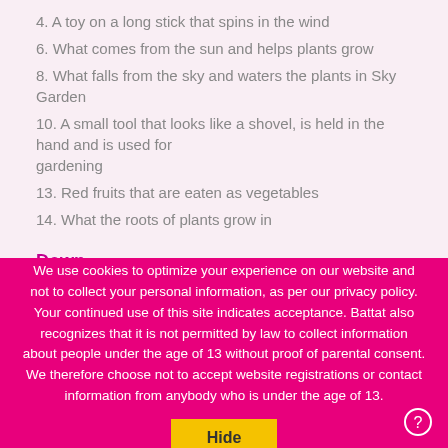4. A toy on a long stick that spins in the wind
6. What comes from the sun and helps plants grow
8. What falls from the sky and waters the plants in Sky Garden
10. A small tool that looks like a shovel, is held in the hand and is used for gardening
13. Red fruits that are eaten as vegetables
14. What the roots of plants grow in
Down
1. Long, green vegetables that the Gardening Club used to make jam
3. A small cart with one wheel at the front and two handles in back that is
We use cookies to optimize your experience on our website and not to collect your personal information, as per our privacy policy. Your continued use of this site indicates acceptance. Battat also recognizes that it is not permitted by law to collect information about people under the age of 13 without proof of parental consent. We therefore choose not to accept website registrations or contact information from anybody who is under the age of 13.